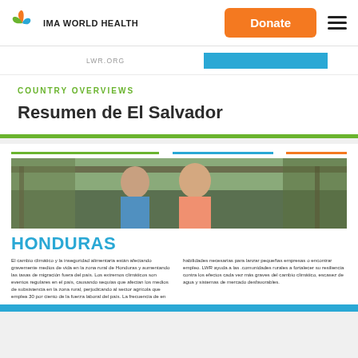IMA WORLD HEALTH
LWR.ORG
COUNTRY OVERVIEWS
Resumen de El Salvador
[Figure (photo): Two women smiling, standing outdoors under a covered structure]
HONDURAS
El cambio climático y la inseguridad alimentaria están afectando gravemente medios de vida en la zona rural de Honduras y aumentando las tasas de migración fuera del país. Los extremos climáticos son eventos regulares en el país, causando sequías que afectan los medios de subsistencia en la zona rural, perjudicando al sector agrícola que emplea 30 por ciento de la fuerza laboral del país. La frecuencia de en
habilidades necesarias para lanzar pequeñas empresas o encontrar empleo. LWR ayuda a las .comunidades rurales a fortalecer su resiliencia contra los efectos cada vez más graves del cambio climático, escasez de agua y sistemas de mercado desfavorables.